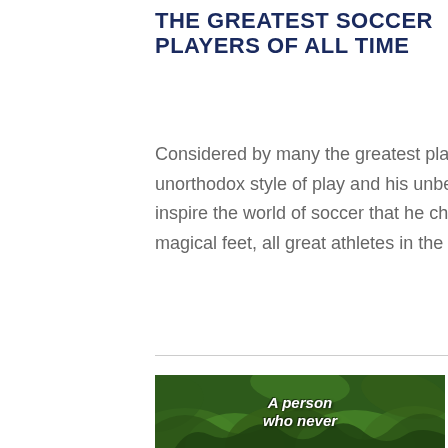THE GREATEST SOCCER PLAYERS OF ALL TIME
Considered by many the greatest player in the football history, Brazil's Pelé used his unorthodox style of play and his unbeatable spirit to overcome all odds, find greatness and inspire the world of soccer that he changed forever. He mesmerized the globe with his magical feet, all great athletes in the soccer are measured against […]
[Figure (photo): A jungle or rainforest scene with green ferns and tropical foliage. White italic bold text overlaid reads 'A person who never']